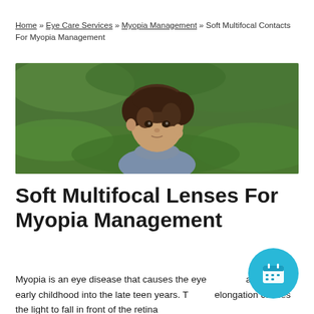Home » Eye Care Services » Myopia Management » Soft Multifocal Contacts For Myopia Management
[Figure (photo): Young child with curly hair resting hand on cheek, green blurred background, wearing a grey sweater]
Soft Multifocal Lenses For Myopia Management
Myopia is an eye disease that causes the eye to elongate from early childhood into the late teen years. This elongation causes the light to fall in front of the retina